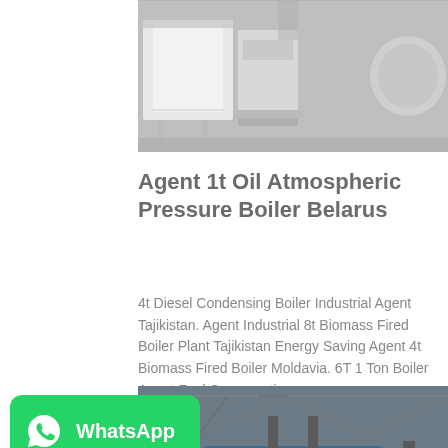[Figure (photo): Industrial boiler or HVAC equipment in a factory/warehouse setting, showing white and gray machinery on a concrete floor.]
Agent 1t Oil Atmospheric Pressure Boiler Belarus
4t Diesel Condensing Boiler Industrial Agent Tajikistan. Agent Industrial 8t Biomass Fired Boiler Plant Tajikistan Energy Saving Agent 4t Biomass Fired Boiler Moldavia. 6T 1 Ton Boiler Agent Fuel Consumption...
[Figure (photo): Industrial boiler plant interior showing large blue/green boiler equipment with piping in a factory building with steel roof trusses.]
[Figure (logo): WhatsApp green badge logo with phone icon and WhatsApp text in white.]